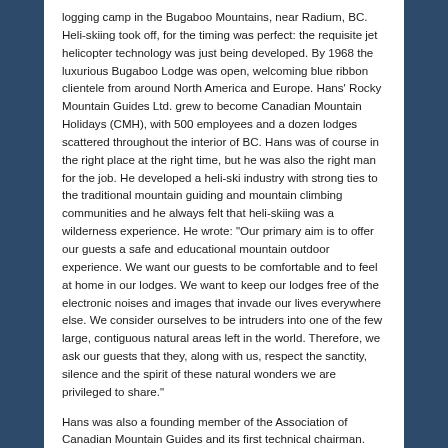logging camp in the Bugaboo Mountains, near Radium, BC. Heli-skiing took off, for the timing was perfect: the requisite jet helicopter technology was just being developed. By 1968 the luxurious Bugaboo Lodge was open, welcoming blue ribbon clientele from around North America and Europe. Hans' Rocky Mountain Guides Ltd. grew to become Canadian Mountain Holidays (CMH), with 500 employees and a dozen lodges scattered throughout the interior of BC. Hans was of course in the right place at the right time, but he was also the right man for the job. He developed a heli-ski industry with strong ties to the traditional mountain guiding and mountain climbing communities and he always felt that heli-skiing was a wilderness experience. He wrote: "Our primary aim is to offer our guests a safe and educational mountain outdoor experience. We want our guests to be comfortable and to feel at home in our lodges. We want to keep our lodges free of the electronic noises and images that invade our lives everywhere else. We consider ourselves to be intruders into one of the few large, contiguous natural areas left in the world. Therefore, we ask our guests that they, along with us, respect the sanctity, silence and the spirit of these natural wonders we are privileged to share."
Hans was also a founding member of the Association of Canadian Mountain Guides and its first technical chairman. Throughout his career he took a keen interest in guides affairs and for a number of